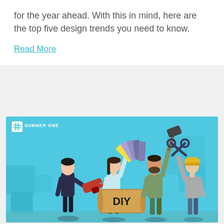for the year ahead. With this in mind, here are the top five design trends you need to know.
Read More
[Figure (illustration): SumnerOne branded illustration showing four people holding DIY tools and supplies including a drill, color swatches, a hammer, scissors, and a sign reading 'DIY', on a light blue background with the SumnerOne logo.]